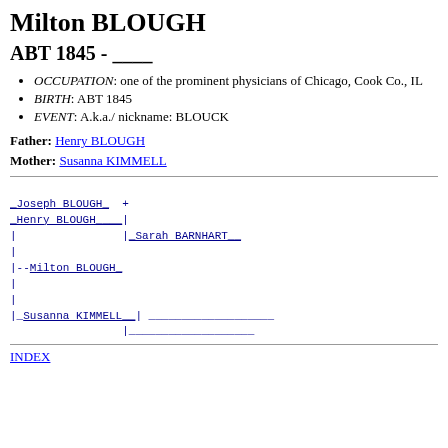Milton BLOUGH
ABT 1845 - ____
OCCUPATION: one of the prominent physicians of Chicago, Cook Co., IL
BIRTH: ABT 1845
EVENT: A.k.a./ nickname: BLOUCK
Father: Henry BLOUGH
Mother: Susanna KIMMELL
[Figure (other): Genealogical pedigree chart showing family tree for Milton BLOUGH with ancestors: Joseph BLOUGH+, Henry BLOUGH, Sarah BARNHART, Susanna KIMMELL]
INDEX